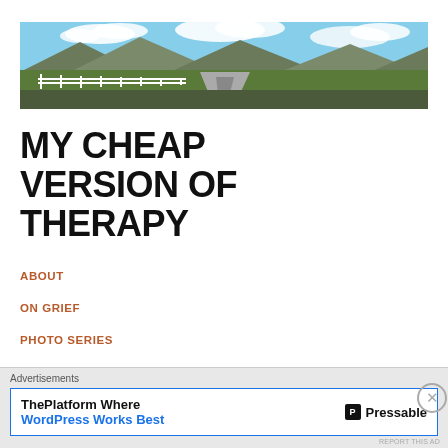[Figure (photo): Panoramic landscape photo showing a rural road with white fence on the left, green fields, mountains in the background, and blue sky with clouds.]
MY CHEAP VERSION OF THERAPY
ABOUT
ON GRIEF
PHOTO SERIES
TTC
PREGNANCY
RAISING BABIES
Advertisements
ThePlatform Where WordPress Works Best  Pressable